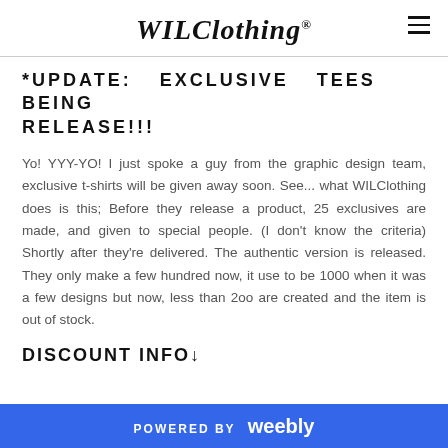WILClothing®
*UPDATE: EXCLUSIVE TEES BEING RELEASE!!!
Yo! YYY-YO! I just spoke a guy from the graphic design team, exclusive t-shirts will be given away soon. See... what WILClothing does is this; Before they release a product, 25 exclusives are made, and given to special people. (I don't know the criteria) Shortly after they're delivered. The authentic version is released. They only make a few hundred now, it use to be 1000 when it was a few designs but now, less than 200 are created and the item is out of stock.
DISCOUNT INFO↓
POWERED BY weebly